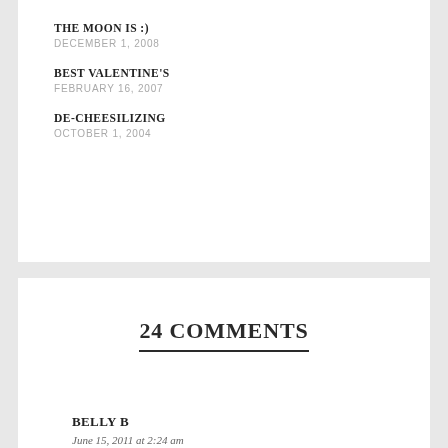THE MOON IS :)
DECEMBER 1, 2008
BEST VALENTINE'S
FEBRUARY 16, 2007
DE-CHEESILIZING
OCTOBER 1, 2004
24 COMMENTS
REPLY
BELLY B
June 15, 2011 at 2:24 am